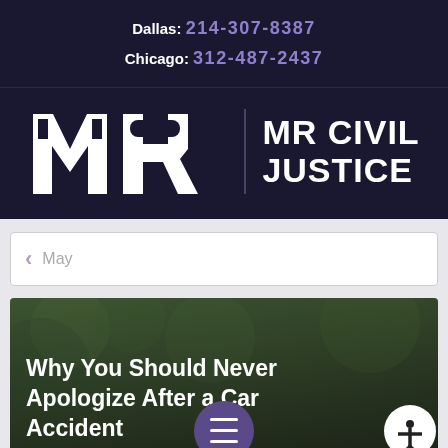Dallas: 214-307-8387 Chicago: 312-487-2437
[Figure (logo): MR Civil Justice logo — stylized MR lettermark in white on dark navy background, vertical divider line, text MR CIVIL JUSTICE]
< May
[Figure (photo): Article card with outdoor background image showing a distressed woman after a car accident, overlaid with bold white text reading: Why You Should Never Apologize After a Car Accident]